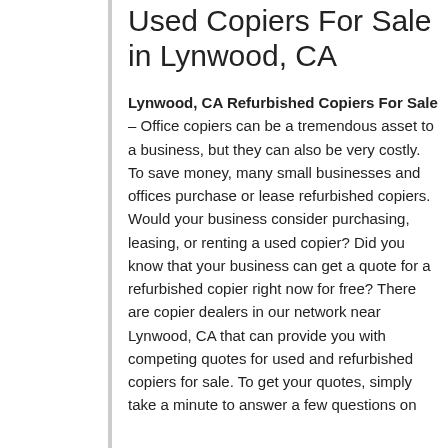Used Copiers For Sale in Lynwood, CA
Lynwood, CA Refurbished Copiers For Sale – Office copiers can be a tremendous asset to a business, but they can also be very costly. To save money, many small businesses and offices purchase or lease refurbished copiers. Would your business consider purchasing, leasing, or renting a used copier? Did you know that your business can get a quote for a refurbished copier right now for free? There are copier dealers in our network near Lynwood, CA that can provide you with competing quotes for used and refurbished copiers for sale. To get your quotes, simply take a minute to answer a few questions on